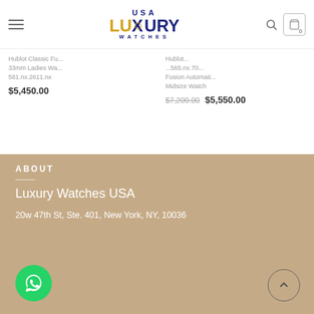USA Luxury Watches
Hublot Classic Fusion 581.nx.2611.nx 33mm Ladies Watch $5,450.00
Hublot Classic Fusion 565.nx.7010 Fusion Automatic Midsize Watch $7,200.00 $5,550.00
ABOUT
Luxury Watches USA
20w 47th St, Ste. 401, New York, NY, 10036